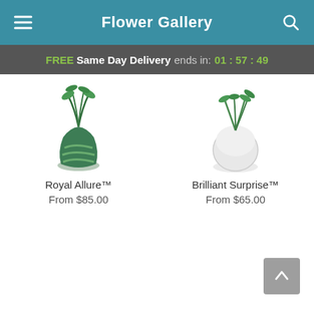Flower Gallery
FREE Same Day Delivery ends in: 01 : 57 : 49
[Figure (photo): Flower arrangement in a green swirl vase – Royal Allure]
Royal Allure™
From $85.00
[Figure (photo): Flower arrangement in a white oval vase – Brilliant Surprise]
Brilliant Surprise™
From $65.00